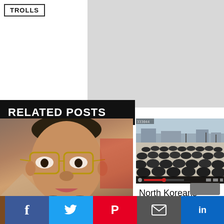TROLLS
RELATED POSTS
[Figure (photo): Close-up photo of Kim Jong Il wearing glasses]
Kim Jong Il Dies At 69
[Figure (screenshot): Video screenshot showing North Koreans kneeling in a public square, mourning]
North Koreans Weep Over Death of Kim Jong Il